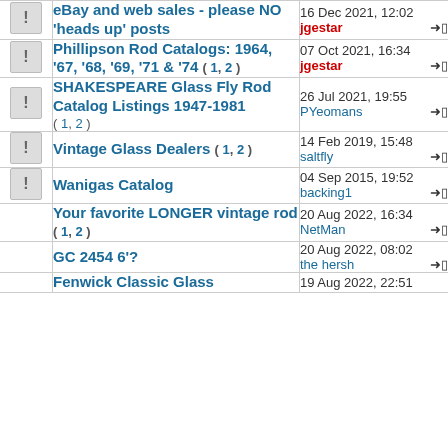eBay and web sales - please NO 'heads up' posts | 16 Dec 2021, 12:02 | jgestar
Phillipson Rod Catalogs: 1964, '67, '68, '69, '71 & '74 (1, 2) | 07 Oct 2021, 16:34 | jgestar
SHAKESPEARE Glass Fly Rod Catalog Listings 1947-1981 (1, 2) | 26 Jul 2021, 19:55 | PYeomans
Vintage Glass Dealers (1, 2) | 14 Feb 2019, 15:48 | saltfly
Wanigas Catalog | 04 Sep 2015, 19:52 | backing1
Your favorite LONGER vintage rod (1, 2) | 20 Aug 2022, 16:34 | NetMan
GC 2454 6'? | 20 Aug 2022, 08:02 | the hersh
Fenwick Classic Glass ... | 19 Aug 2022, 22:51